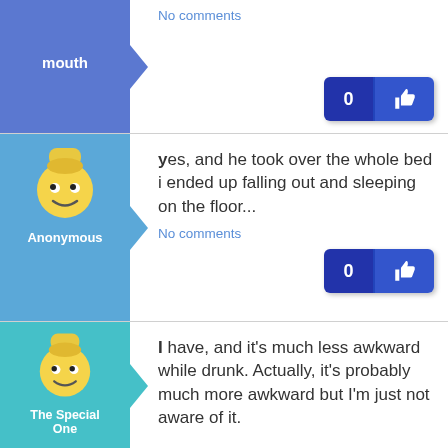mouth
No comments
Anonymous
yes, and he took over the whole bed i ended up falling out and sleeping on the floor...
No comments
The Special One
I have, and it's much less awkward while drunk. Actually, it's probably much more awkward but I'm just not aware of it.